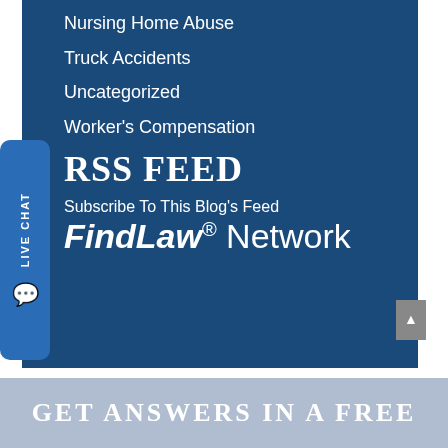Nursing Home Abuse
Truck Accidents
Uncategorized
Worker's Compensation
RSS FEED
Subscribe To This Blog's Feed
FindLaw® Network
GET ANSWERS IN A FREE